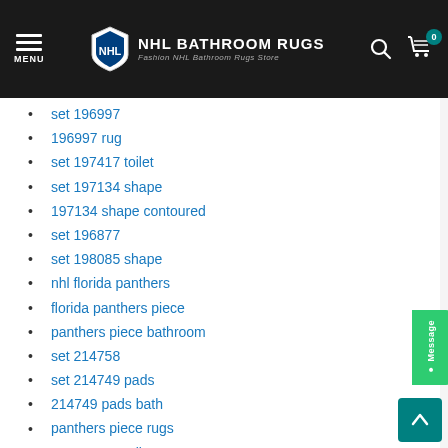NHL BATHROOM RUGS — Fashion NHL Bathroom Rugs Store
set 196997
196997 rug
set 197417 toilet
set 197134 shape
197134 shape contoured
set 196877
set 198085 shape
nhl florida panthers
florida panthers piece
panthers piece bathroom
set 214758
set 214749 pads
214749 pads bath
panthers piece rugs
set 214477 toilet
set 214897 shape
washable florida panthers
set 214639 shape